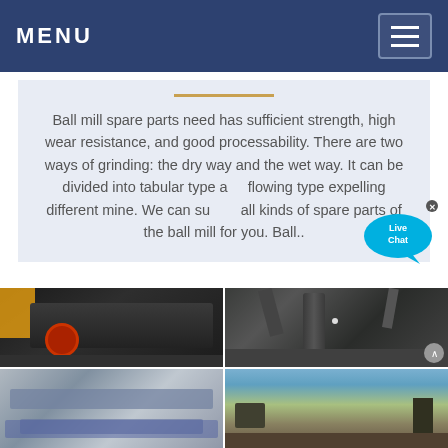MENU
Ball mill spare parts need has sufficient strength, high wear resistance, and good processability. There are two ways of grinding: the dry way and the wet way. It can be divided into tabular type and flowing type expelling different mine. We can supply all kinds of spare parts of the ball mill for you. Ball..
[Figure (photo): Industrial impact crusher machine in a factory/warehouse setting with yellow crane visible, showing red circular flywheel component]
[Figure (photo): Industrial vertical mill with large pipes and dust collection system in outdoor/indoor industrial setting]
[Figure (photo): Industrial conveyor or processing equipment, grey tones]
[Figure (photo): Outdoor quarry or mining site with machinery and blue sky]